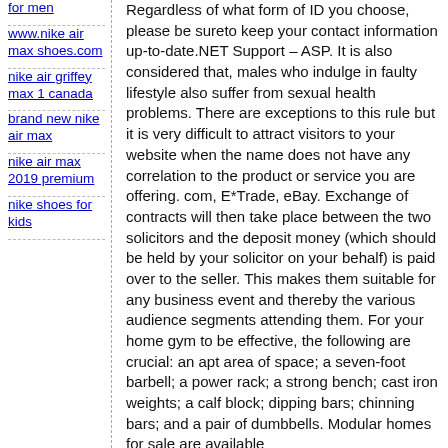for men
www.nike air max shoes.com
nike air griffey max 1 canada
brand new nike air max
nike air max 2019 premium
nike shoes for kids
Regardless of what form of ID you choose, please be sureto keep your contact information up-to-date.NET Support – ASP. It is also considered that, males who indulge in faulty lifestyle also suffer from sexual health problems. There are exceptions to this rule but it is very difficult to attract visitors to your website when the name does not have any correlation to the product or service you are offering. com, E*Trade, eBay. Exchange of contracts will then take place between the two solicitors and the deposit money (which should be held by your solicitor on your behalf) is paid over to the seller. This makes them suitable for any business event and thereby the various audience segments attending them. For your home gym to be effective, the following are crucial: an apt area of space; a seven-foot barbell; a power rack; a strong bench; cast iron weights; a calf block; dipping bars; chinning bars; and a pair of dumbbells. Modular homes for sale are available